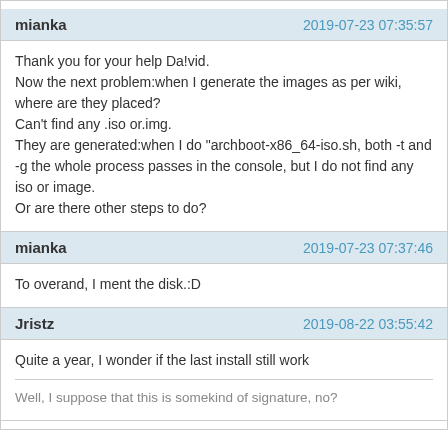mianka | 2019-07-23 07:35:57
Thank you for your help Da!vid.
Now the next problem:when I generate the images as per wiki, where are they placed?
Can't find any .iso or.img.
They are generated:when I do "archboot-x86_64-iso.sh, both -t and -g the whole process passes in the console, but I do not find any iso or image.
Or are there other steps to do?
mianka | 2019-07-23 07:37:46
To overand, I ment the disk.:D
Jristz | 2019-08-22 03:55:42
Quite a year, I wonder if the last install still work
Well, I suppose that this is somekind of signature, no?